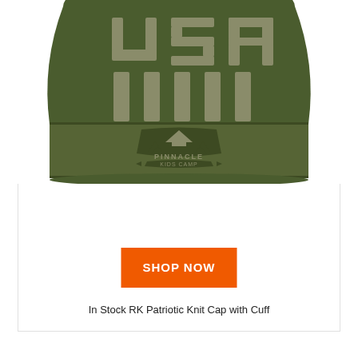[Figure (photo): Olive green knit beanie/cap with cuff. The upper portion shows 'USA' text and vertical stripe pattern in khaki/tan color. The cuff displays an embroidered 'Pinnacle Kids Camp' logo with a tent and pine trees.]
SHOP NOW
In Stock RK Patriotic Knit Cap with Cuff